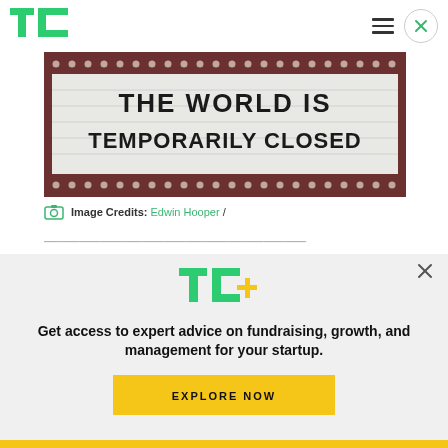TechCrunch
[Figure (photo): A theater marquee sign reading 'THE WORLD IS TEMPORARILY CLOSED' in large bold black letters on a white background, framed by a dark maroon/brown border with decorative light bulb dots.]
Image Credits: Edwin Hooper /
[Figure (screenshot): TC+ subscription modal overlay with TechCrunch plus logo, tagline 'Get access to expert advice on fundraising, growth, and management for your startup.' and an EXPLORE NOW button in yellow.]